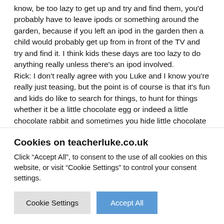know, be too lazy to get up and try and find them, you'd probably have to leave ipods or something around the garden, because if you left an ipod in the garden then a child would probably get up from in front of the TV and try and find it. I think kids these days are too lazy to do anything really unless there's an ipod involved. Rick: I don't really agree with you Luke and I know you're really just teasing, but the point is of course is that it's fun and kids do like to search for things, to hunt for things whether it be a little chocolate egg or indeed a little chocolate rabbit and sometimes you hide little chocolate rabbits around the house and ask the children to find them and they love it.
Cookies on teacherluke.co.uk
Click "Accept All", to consent to the use of all cookies on this website, or visit "Cookie Settings" to control your consent settings.